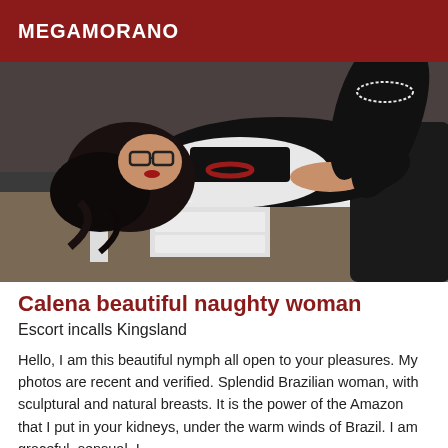MEGAMORANO
[Figure (photo): A dark-haired woman wearing glasses and a red bead necklace, dressed in a white shirt and black skirt, lying on a white desk in an office setting.]
Calena beautiful naughty woman
Escort incalls Kingsland
Hello, I am this beautiful nymph all open to your pleasures. My photos are recent and verified. Splendid Brazilian woman, with sculptural and natural breasts. It is the power of the Amazon that I put in your kidneys, under the warm winds of Brazil. I am graceful, sensual. I